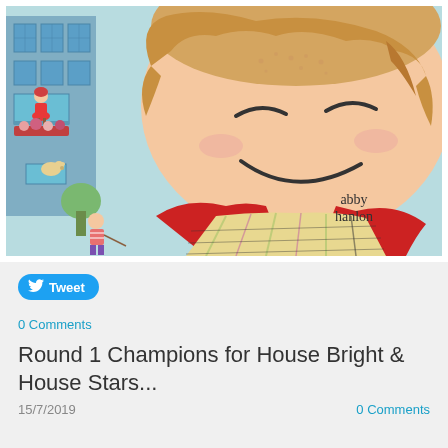[Figure (illustration): Book cover illustration showing a smiling child with freckles wearing a red cape and plaid shirt. Text 'abby hanlon' appears in the lower right. Background shows an apartment building with a girl on a balcony, a dog, and a child walking below.]
Tweet
0 Comments
Round 1 Champions for House Bright & House Stars...
15/7/2019
0 Comments